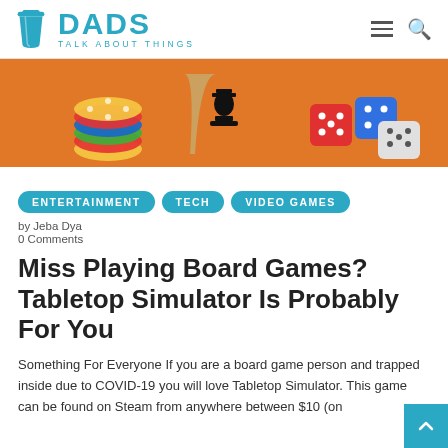DADS TALK ABOUT THINGS
[Figure (photo): Board game items on orange background: poker chips, chess piece, dice in various colors]
ENTERTAINMENT  TECH  VIDEO GAMES
by Jeba Dya
0 Comments
Miss Playing Board Games? Tabletop Simulator Is Probably For You
Something For Everyone If you are a board game person and trapped inside due to COVID-19 you will love Tabletop Simulator. This game can be found on Steam from anywhere between $10 (on